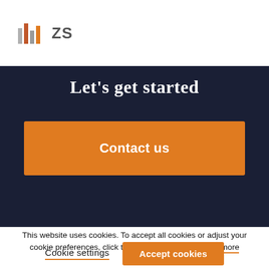[Figure (logo): ZS Associates logo with orange/grey bar chart icon and 'ZS' text]
Let's get started
Contact us
This website uses cookies. To accept all cookies or adjust your cookie preferences, click the links to the right.  Learn more
Cookie settings
Accept cookies